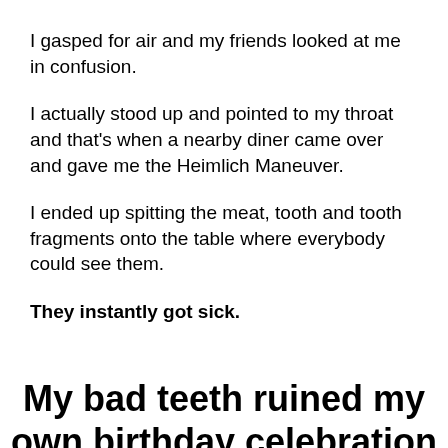I gasped for air and my friends looked at me in confusion.
I actually stood up and pointed to my throat and that's when a nearby diner came over and gave me the Heimlich Maneuver.
I ended up spitting the meat, tooth and tooth fragments onto the table where everybody could see them.
They instantly got sick.
My bad teeth ruined my own birthday celebration and nearly cost me my life.